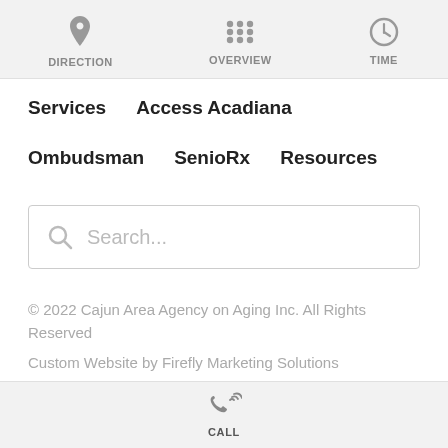[Figure (screenshot): Mobile app navigation bar with three icon buttons: DIRECTION (location pin icon), OVERVIEW (grid of dots icon), TIME (clock icon)]
Services   Access Acadiana
Ombudsman   SenioRx   Resources
[Figure (screenshot): Search input field with magnifying glass icon and placeholder text 'Search...']
© 2022 Cajun Area Agency on Aging Inc. All Rights Reserved
Custom Website by Firefly Marketing Solutions
CALL